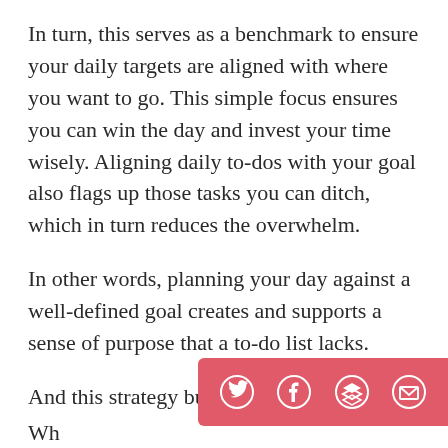In turn, this serves as a benchmark to ensure your daily targets are aligned with where you want to go. This simple focus ensures you can win the day and invest your time wisely. Aligning daily to-dos with your goal also flags up those tasks you can ditch, which in turn reduces the overwhelm.
In other words, planning your day against a well-defined goal creates and supports a sense of purpose that a to-do list lacks.
And this strategy builds momentum.
[Figure (other): Social sharing bar with Twitter, Facebook, Buffer/layers, and email icons on a coral/pink-red background]
Wh... (cut off)